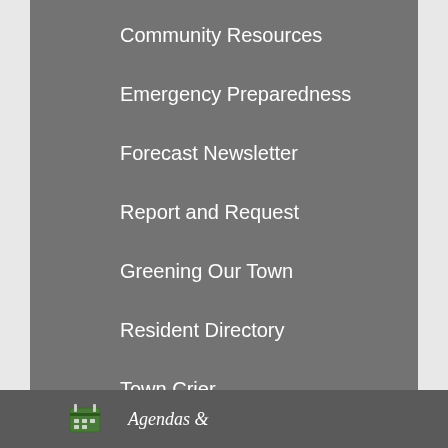Community Resources
Emergency Preparedness
Forecast Newsletter
Report and Request
Greening Our Town
Resident Directory
Town Crier
Town Teens
Agendas &